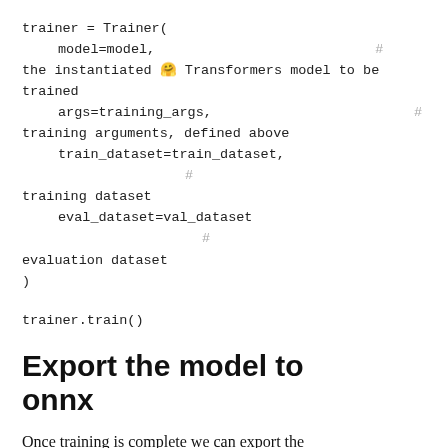trainer = Trainer(
    model=model,                                    # the instantiated 🤗 Transformers model to be trained
    args=training_args,                             # training arguments, defined above
    train_dataset=train_dataset,                    # training dataset
    eval_dataset=val_dataset                        # evaluation dataset
)
trainer.train()
Export the model to onnx
Once training is complete we can export the